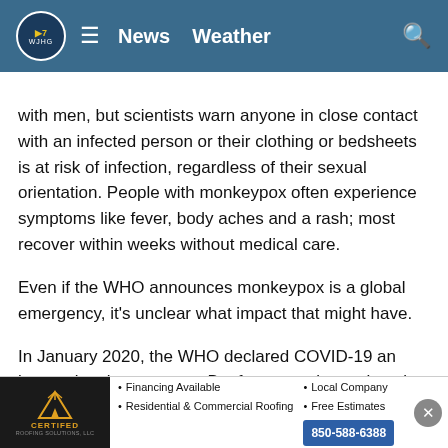WJHG 7 News | News  Weather
with men, but scientists warn anyone in close contact with an infected person or their clothing or bedsheets is at risk of infection, regardless of their sexual orientation. People with monkeypox often experience symptoms like fever, body aches and a rash; most recover within weeks without medical care.
Even if the WHO announces monkeypox is a global emergency, it's unclear what impact that might have.
In January 2020, the WHO declared COVID-19 an international emergency. But few countries took notice until March, when the organization described it as a pandemic, weeks after many other authorities did so. The WHO was later slammed for its multiple missteps throughout the pandemic, and the experience is cited as an argument for itting a quicker...
[Figure (other): Certifed Roofing Solutions advertisement banner. Text: Financing Available, Residential & Commercial Roofing, Local Company, Free Estimates, 850-588-6388]